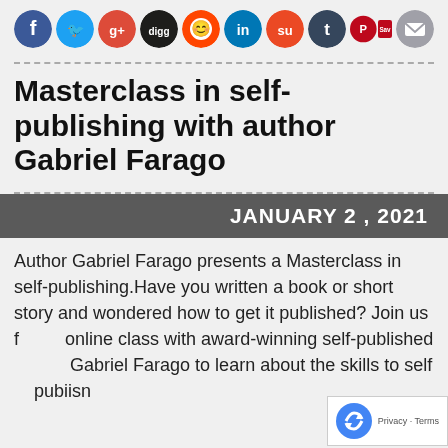[Figure (other): Social media share icons row: Facebook, Twitter, Google+, Digg, Reddit, LinkedIn, StumbleUpon, Tumblr, Pinterest Save, Email]
Masterclass in self-publishing with author Gabriel Farago
JANUARY 2 , 2021
Author Gabriel Farago presents a Masterclass in self-publishing.Have you written a book or short story and wondered how to get it published? Join us for an online class with award-winning self-published author Gabriel Farago to learn about the skills to self publish